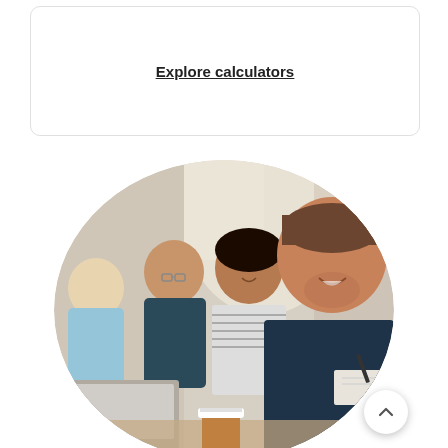Explore calculators
[Figure (photo): Four colleagues sitting at a table in an office meeting, smiling and laughing. A man in a dark denim shirt in the foreground, a woman in a striped shirt next to him, a man with glasses behind them, and a woman with blonde hair partially visible on the left. A laptop and a takeaway coffee cup are on the table.]